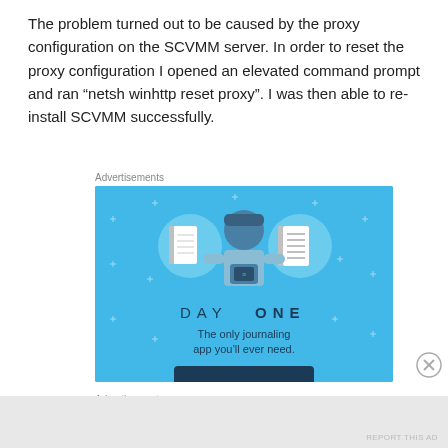The problem turned out to be caused by the proxy configuration on the SCVMM server. In order to reset the proxy configuration I opened an elevated command prompt and ran “netsh winhttp reset proxy”. I was then able to re-install SCVMM successfully.
Advertisements
[Figure (illustration): Day One journaling app advertisement. Blue background with illustration of a person holding a phone, flanked by two notebook icons in circles. Text reads 'DAY ONE' and 'The only journaling app you'll ever need.' with a button partially visible at the bottom.]
Advertisements